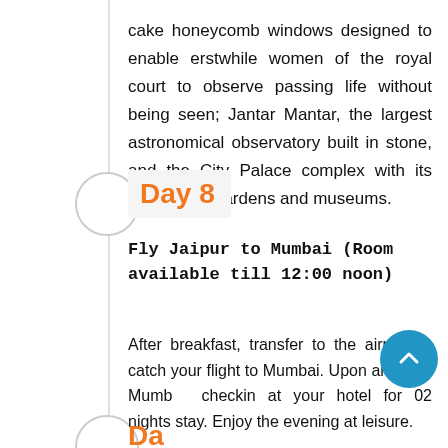cake honeycomb windows designed to enable erstwhile women of the royal court to observe passing life without being seen; Jantar Mantar, the largest astronomical observatory built in stone, and the City Palace complex with its impressive gardens and museums.
Day 8
Fly Jaipur to Mumbai (Room available till 12:00 noon)
After breakfast, transfer to the airport to catch your flight to Mumbai. Upon arrival in Mumbai, checkin at your hotel for 02 nights stay. Enjoy the evening at leisure.
Day 9